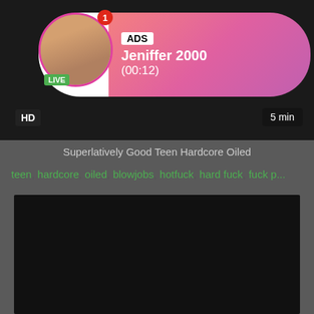[Figure (screenshot): Ad banner with avatar showing a person, LIVE badge, ADS label, username Jeniffer 2000, timer (00:12), pink gradient background, HD badge, 5 min duration]
Superlatively Good Teen Hardcore Oiled
teen, hardcore, oiled, blowjobs, hotfuck, hard fuck, fuck p...
[Figure (screenshot): Black video player area]